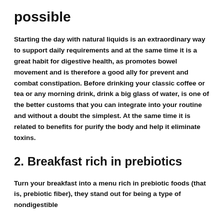possible
Starting the day with natural liquids is an extraordinary way to support daily requirements and at the same time it is a great habit for digestive health, as promotes bowel movement and is therefore a good ally for prevent and combat constipation. Before drinking your classic coffee or tea or any morning drink, drink a big glass of water, is one of the better customs that you can integrate into your routine and without a doubt the simplest. At the same time it is related to benefits for purify the body and help it eliminate toxins.
2. Breakfast rich in prebiotics
Turn your breakfast into a menu rich in prebiotic foods (that is, prebiotic fiber), they stand out for being a type of nondigestible